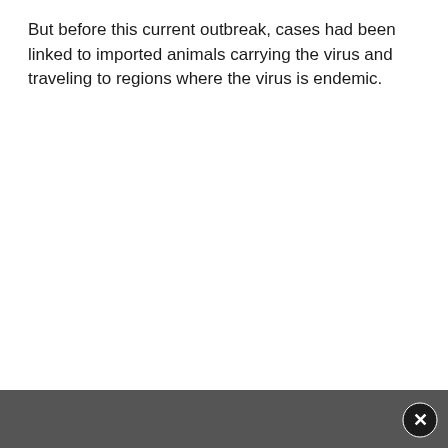But before this current outbreak, cases had been linked to imported animals carrying the virus and traveling to regions where the virus is endemic.